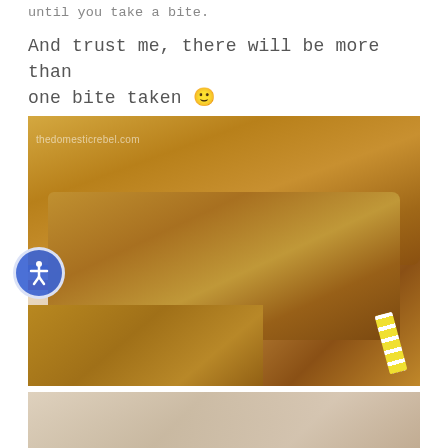until you take a bite.
And trust me, there will be more than one bite taken 🙂
[Figure (photo): Close-up photo of stacked M&M cookie bars on a colorful striped cloth/napkin, with a red bowl and yellow striped straw in background. Watermark reads 'thedomesticrebel.com']
[Figure (photo): Partially visible photo of another food item at bottom of page]